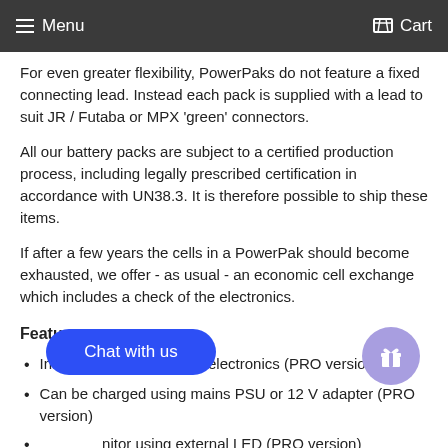Menu   Cart
For even greater flexibility, PowerPaks do not feature a fixed connecting lead. Instead each pack is supplied with a lead to suit JR / Futaba or MPX 'green' connectors.
All our battery packs are subject to a certified production process, including legally prescribed certification in accordance with UN38.3. It is therefore possible to ship these items.
If after a few years the cells in a PowerPak should become exhausted, we offer - as usual - an economic cell exchange which includes a check of the electronics.
Features
Integral charge / security electronics (PRO version)
Can be charged using mains PSU or 12 V adapter (PRO version)
monitor using external LED (PRO version)
age to storage level (PRO version)
Packs assembled using the latest generation of high-current Li-